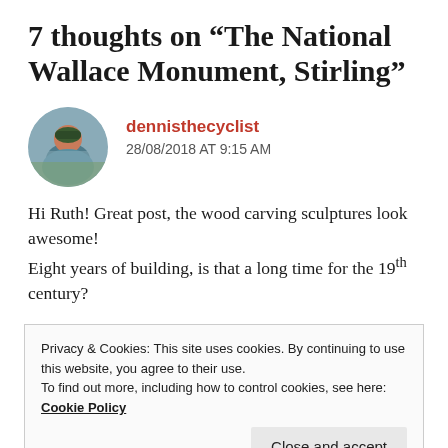7 thoughts on “The National Wallace Monument, Stirling”
dennisthecyclist
28/08/2018 AT 9:15 AM
Hi Ruth! Great post, the wood carving sculptures look awesome!
Eight years of building, is that a long time for the 19th century?
Privacy & Cookies: This site uses cookies. By continuing to use this website, you agree to their use.
To find out more, including how to control cookies, see here: Cookie Policy
Close and accept